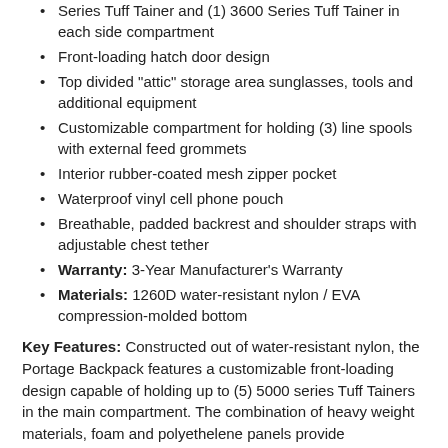Series Tuff Tainer and (1) 3600 Series Tuff Tainer in each side compartment
Front-loading hatch door design
Top divided "attic" storage area sunglasses, tools and additional equipment
Customizable compartment for holding (3) line spools with external feed grommets
Interior rubber-coated mesh zipper pocket
Waterproof vinyl cell phone pouch
Breathable, padded backrest and shoulder straps with adjustable chest tether
Warranty: 3-Year Manufacturer's Warranty
Materials: 1260D water-resistant nylon / EVA compression-molded bottom
Key Features: Constructed out of water-resistant nylon, the Portage Backpack features a customizable front-loading design capable of holding up to (5) 5000 series Tuff Tainers in the main compartment. The combination of heavy weight materials, foam and polyethelene panels provide unsurpassed protection. Attach the P40S Portage Sling to the front to make this the ultimate co-angler or shoreline bag.
Series Overview: The ultimate softside storage systems. Extreme durability and refined aesthetic designed to be a boat house in a bag.